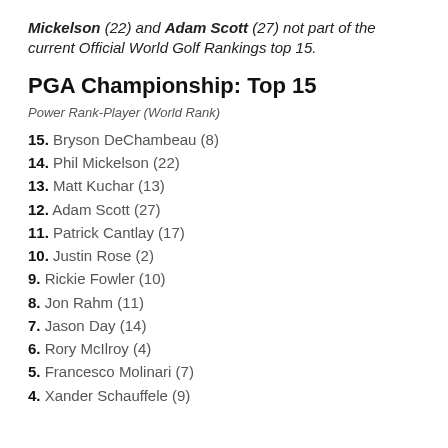Mickelson (22) and Adam Scott (27) not part of the current Official World Golf Rankings top 15.
PGA Championship: Top 15
Power Rank-Player (World Rank)
15. Bryson DeChambeau (8)
14. Phil Mickelson (22)
13. Matt Kuchar (13)
12. Adam Scott (27)
11. Patrick Cantlay (17)
10. Justin Rose (2)
9. Rickie Fowler (10)
8. Jon Rahm (11)
7. Jason Day (14)
6. Rory McIlroy (4)
5. Francesco Molinari (7)
4. Xander Schauffele (9)